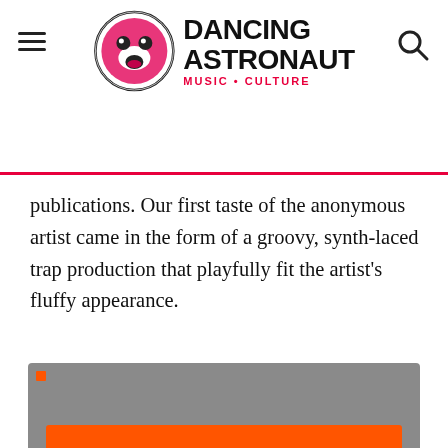Dancing Astronaut — Music + Culture
publications. Our first taste of the anonymous artist came in the form of a groovy, synth-laced trap production that playfully fit the artist's fluffy appearance.
[Figure (screenshot): SoundCloud embedded player showing an orange 'Play on SoundCloud' button and a 'Listen in browser' button on a grey background, with a Privacy policy link in the lower left.]
After just a few releases, news began to break regarding the unusual amount of attention that Marshmello had been receiving. From Miami Music Week bookings to a